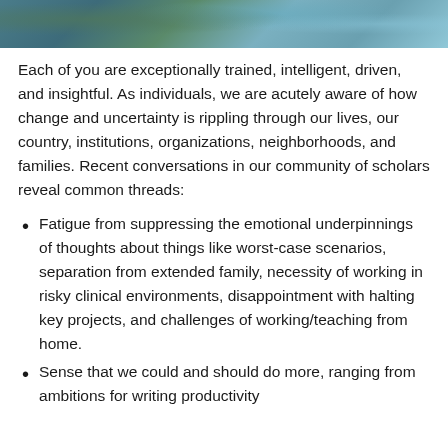[Figure (photo): Partial photo strip at top of page showing outdoor scene with blue and green tones, possibly water or nature.]
Each of you are exceptionally trained, intelligent, driven, and insightful. As individuals, we are acutely aware of how change and uncertainty is rippling through our lives, our country, institutions, organizations, neighborhoods, and families. Recent conversations in our community of scholars reveal common threads:
Fatigue from suppressing the emotional underpinnings of thoughts about things like worst-case scenarios, separation from extended family, necessity of working in risky clinical environments, disappointment with halting key projects, and challenges of working/teaching from home.
Sense that we could and should do more, ranging from ambitions for writing productivity